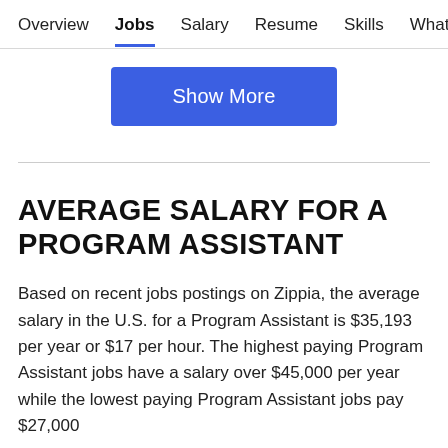Overview  Jobs  Salary  Resume  Skills  What They >
Show More
AVERAGE SALARY FOR A PROGRAM ASSISTANT
Based on recent jobs postings on Zippia, the average salary in the U.S. for a Program Assistant is $35,193 per year or $17 per hour. The highest paying Program Assistant jobs have a salary over $45,000 per year while the lowest paying Program Assistant jobs pay $27,000